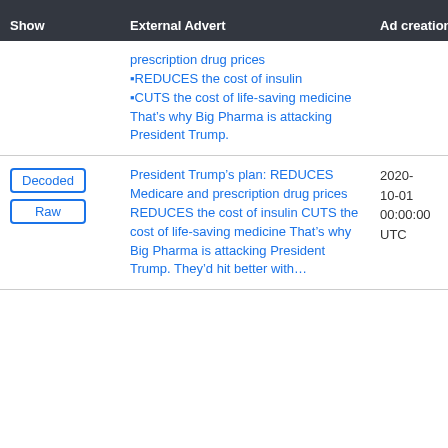| Show | External Advert | Ad creation time |
| --- | --- | --- |
|  | prescription drug prices•REDUCES the cost of insulin•CUTS the cost of life-saving medicine That’s why Big Pharma is attacking President Trump. |  |
| Decoded
Raw | President Trump’s plan: REDUCES Medicare and prescription drug prices REDUCES the cost of insulin CUTS the cost of life-saving medicine That’s why Big Pharma is attacking President Trump. They’d hit better with… | 2020-10-01 00:00:00 UTC |